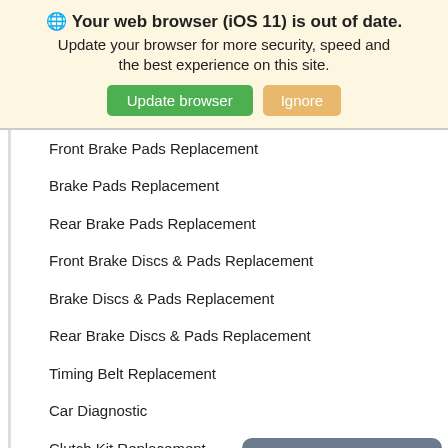🌐 Your web browser (iOS 11) is out of date. Update your browser for more security, speed and the best experience on this site. [Update browser] [Ignore]
Front Brake Pads Replacement
Brake Pads Replacement
Rear Brake Pads Replacement
Front Brake Discs & Pads Replacement
Brake Discs & Pads Replacement
Rear Brake Discs & Pads Replacement
Timing Belt Replacement
Car Diagnostic
Clutch Kit Replacement
Car Battery Replacement & Fitting
Air Conditioning Regas
Water Pump Replacement
Our site uses cookies to ensure you get the best experience. Learn more OK